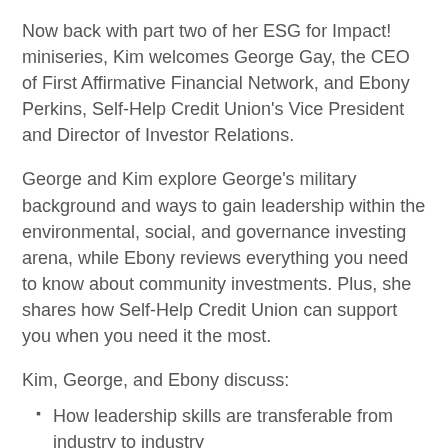Now back with part two of her ESG for Impact! miniseries, Kim welcomes George Gay, the CEO of First Affirmative Financial Network, and Ebony Perkins, Self-Help Credit Union's Vice President and Director of Investor Relations.
George and Kim explore George's military background and ways to gain leadership within the environmental, social, and governance investing arena, while Ebony reviews everything you need to know about community investments. Plus, she shares how Self-Help Credit Union can support you when you need it the most.
Kim, George, and Ebony discuss:
How leadership skills are transferable from industry to industry
How 9/11 and the 2008 Market Crisis affected